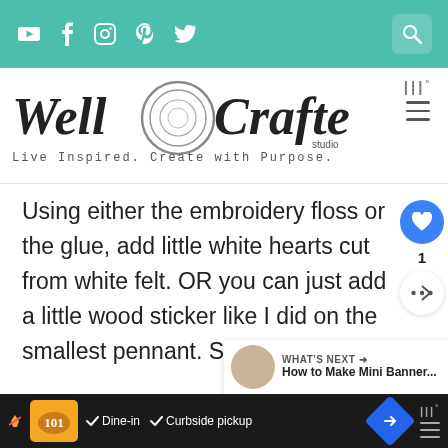Well Crafted Studio — Live Inspired. Create with Purpose. [Navigation bar with social icons]
[Figure (logo): Well Crafted Studio logo with stylized circular design and tagline 'Live Inspired. Create with Purpose.']
Using either the embroidery floss or the glue, add little white hearts cut from white felt. OR you can just add a little wood sticker like I did on the smallest pennant. So easy!
Ad: Dine-in ✓ Curbside pickup ✓